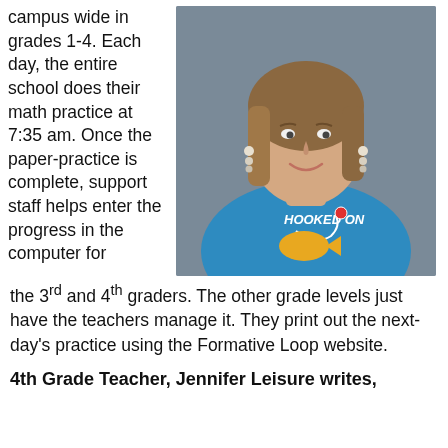campus wide in grades 1-4. Each day, the entire school does their math practice at 7:35 am. Once the paper-practice is complete, support staff helps enter the progress in the computer for the 3rd and 4th graders. The other grade levels just have the teachers manage it. They print out the next-day's practice using the Formative Loop website.
[Figure (photo): Portrait photo of a smiling woman with shoulder-length brown/blonde hair, wearing a blue t-shirt that reads 'HOOKED ON' with a fishing-themed graphic, standing against a gray background.]
4th Grade Teacher, Jennifer Leisure writes,